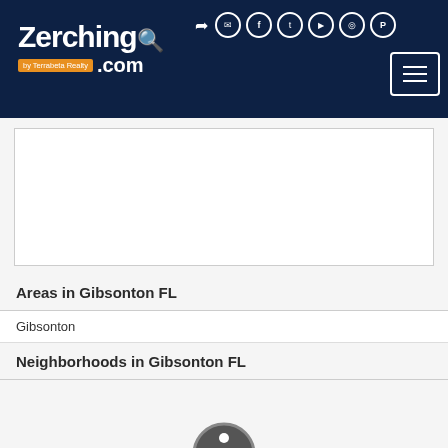[Figure (logo): Zerching.com by Terrabeta Realty logo in white text on dark navy background with magnifying glass icon]
[Figure (other): Social media icons (sign in, email, Facebook, Twitter, YouTube, Instagram, Pinterest) in circle outlines on dark navy header, plus hamburger menu button]
[Figure (other): White advertisement/content box with border]
Areas in Gibsonton FL
Gibsonton
Neighborhoods in Gibsonton FL
[Figure (other): Accessibility widget circle icon with person figure]